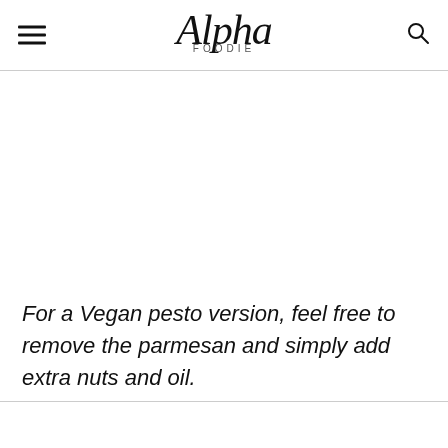Alpha Foodie
For a Vegan pesto version, feel free to remove the parmesan and simply add extra nuts and oil.